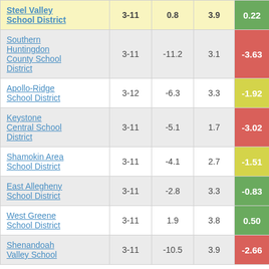| School District | Grades | Col3 | Col4 | Score |
| --- | --- | --- | --- | --- |
| Steel Valley School District | 3-11 | 0.8 | 3.9 | 0.22 |
| Southern Huntingdon County School District | 3-11 | -11.2 | 3.1 | -3.63 |
| Apollo-Ridge School District | 3-12 | -6.3 | 3.3 | -1.92 |
| Keystone Central School District | 3-11 | -5.1 | 1.7 | -3.02 |
| Shamokin Area School District | 3-11 | -4.1 | 2.7 | -1.51 |
| East Allegheny School District | 3-11 | -2.8 | 3.3 | -0.83 |
| West Greene School District | 3-11 | 1.9 | 3.8 | 0.50 |
| Shenandoah Valley School District | 3-11 | -10.5 | 3.9 | -2.66 |